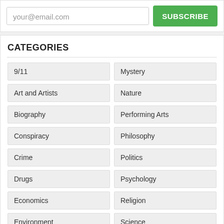your@email.com
SUBSCRIBE
CATEGORIES
9/11
Mystery
Art and Artists
Nature
Biography
Performing Arts
Conspiracy
Philosophy
Crime
Politics
Drugs
Psychology
Economics
Religion
Environment
Science
Health
Sexuality
History
Society